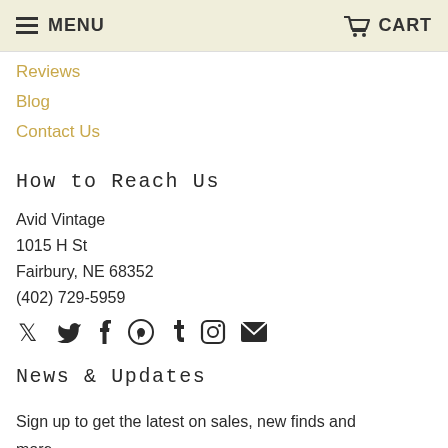MENU   CART
Reviews
Blog
Contact Us
How to Reach Us
Avid Vintage
1015 H St
Fairbury, NE 68352
(402) 729-5959
[Figure (infographic): Social media icons: Twitter, Facebook, Pinterest, Tumblr, Instagram, Email]
News & Updates
Sign up to get the latest on sales, new finds and more ...